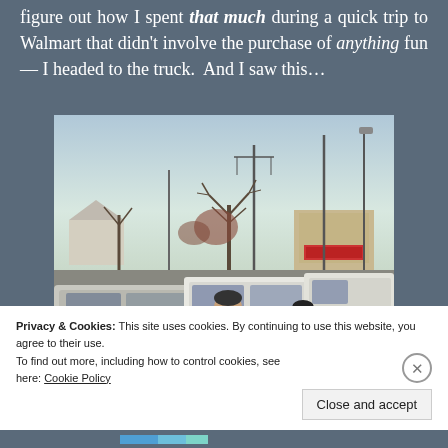figure out how I spent that much during a quick trip to Walmart that didn't involve the purchase of anything fun — I headed to the truck. And I saw this…
[Figure (photo): A photo taken in a Walmart parking lot showing cars, utility poles, bare trees, and commercial buildings in the background. Two people are visible in the foreground near the vehicles.]
Privacy & Cookies: This site uses cookies. By continuing to use this website, you agree to their use.
To find out more, including how to control cookies, see here: Cookie Policy
Close and accept